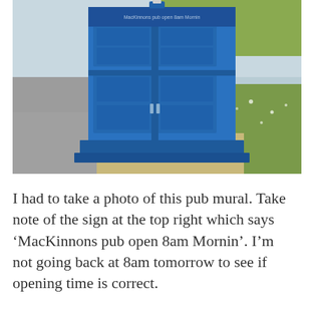[Figure (photo): A blue police box (TARDIS-style) standing on a concrete base beside a footpath, with grass and open sky in the background. The box is painted bright blue with panelled doors.]
I had to take a photo of this pub mural. Take note of the sign at the top right which says ‘MacKinnons pub open 8am Mornin’. I’m not going back at 8am tomorrow to see if opening time is correct.